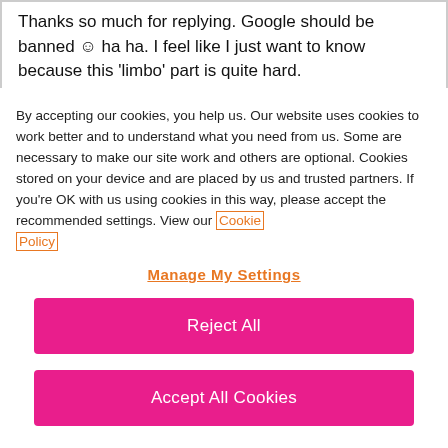Thanks so much for replying. Google should be banned © ha ha. I feel like I just want to know because this 'limbo' part is quite hard. I have had family and friends promise I will be
By accepting our cookies, you help us. Our website uses cookies to work better and to understand what you need from us. Some are necessary to make our site work and others are optional. Cookies stored on your device and are placed by us and trusted partners. If you're OK with us using cookies in this way, please accept the recommended settings. View our Cookie Policy
Manage My Settings
Reject All
Accept All Cookies